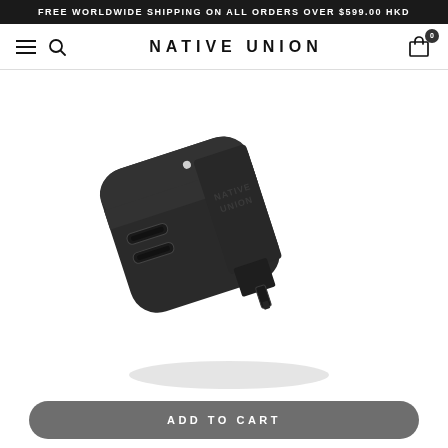FREE WORLDWIDE SHIPPING ON ALL ORDERS OVER $599.00 HKD
NATIVE UNION
[Figure (photo): Native Union dual USB-C wall charger in matte black finish, shown at an angle with two USB-C ports visible on the front face and the brand name 'NATIVE UNION' embossed on the side, with a folding US plug prong visible at the bottom right]
ADD TO CART